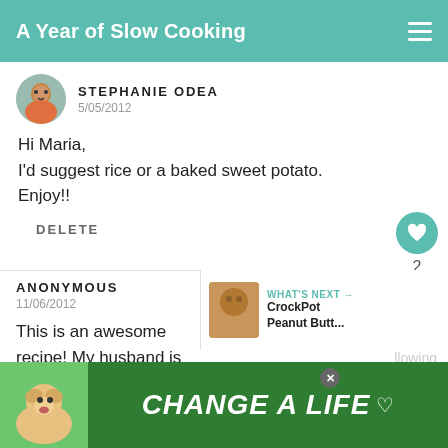A Year of Slow Cooking
STEPHANIE ODEA
5/05/2012

Hi Maria,
I'd suggest rice or a baked sweet potato.
Enjoy!!
DELETE
ANONYMOUS
11/06/2012

This is an awesome recipe! My husband is on a
WHAT'S NEXT → CrockPot Peanut Butt...
[Figure (infographic): CHANGE A LIFE advertisement banner with dog image]